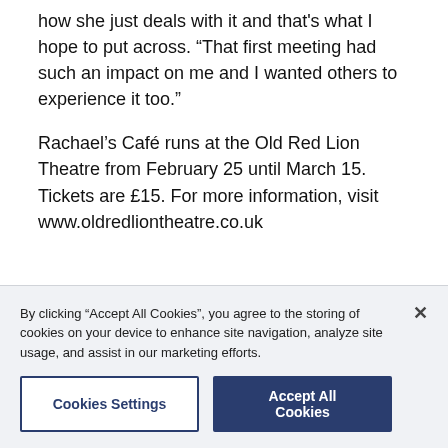how she just deals with it and that's what I hope to put across. “That first meeting had such an impact on me and I wanted others to experience it too.”

Rachael’s Café runs at the Old Red Lion Theatre from February 25 until March 15. Tickets are £15. For more information, visit www.oldredliontheatre.co.uk
By clicking “Accept All Cookies”, you agree to the storing of cookies on your device to enhance site navigation, analyze site usage, and assist in our marketing efforts.
Cookies Settings
Accept All Cookies